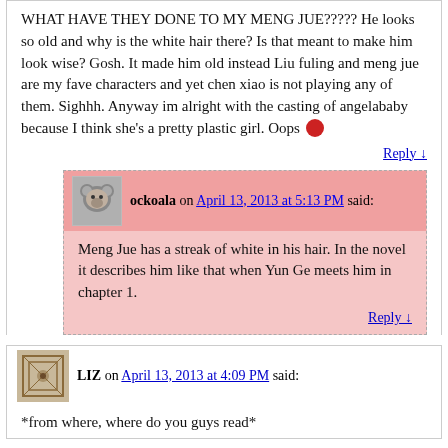WHAT HAVE THEY DONE TO MY MENG JUE????? He looks so old and why is the white hair there? Is that meant to make him look wise? Gosh. It made him old instead Liu fuling and meng jue are my fave characters and yet chen xiao is not playing any of them. Sighhh. Anyway im alright with the casting of angelababy because I think she's a pretty plastic girl. Oops 😶
Reply ↓
ockoala on April 13, 2013 at 5:13 PM said:
Meng Jue has a streak of white in his hair. In the novel it describes him like that when Yun Ge meets him in chapter 1.
Reply ↓
LIZ on April 13, 2013 at 4:09 PM said:
*from where, where do you guys read*